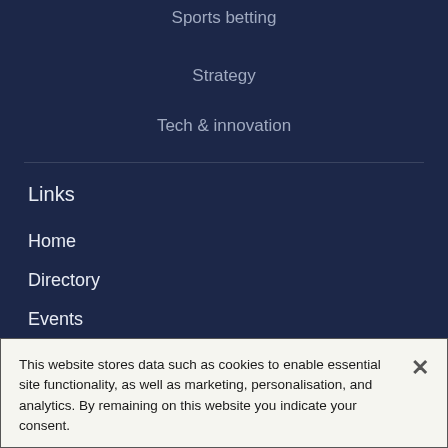Sports betting
Strategy
Tech & innovation
Links
Home
Directory
Events
Jobs
This website stores data such as cookies to enable essential site functionality, as well as marketing, personalisation, and analytics. By remaining on this website you indicate your consent.